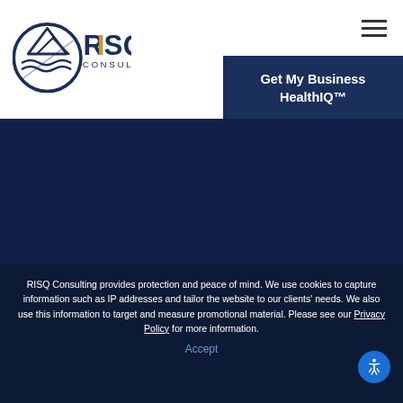[Figure (logo): RISQ Consulting logo — circular mountain/wave emblem in dark navy, with RISQ in mixed navy/gold letters and CONSULTING beneath in navy]
[Figure (other): Hamburger menu icon (three horizontal lines) in top right corner]
Get My Business HealthIQ™
[Figure (other): Dark navy blue background section in middle of page]
RISQ Consulting provides protection and peace of mind. We use cookies to capture information such as IP addresses and tailor the website to our clients' needs. We also use this information to target and measure promotional material. Please see our Privacy Policy for more information.
Accept